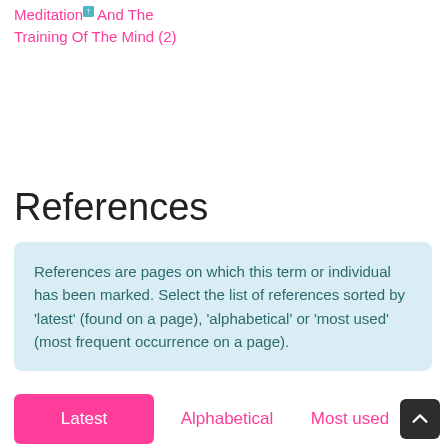Meditation [↑] And The Training Of The Mind (2)
References
References are pages on which this term or individual has been marked. Select the list of references sorted by 'latest' (found on a page), 'alphabetical' or 'most used' (most frequent occurrence on a page).
Latest
Alphabetical
Most used